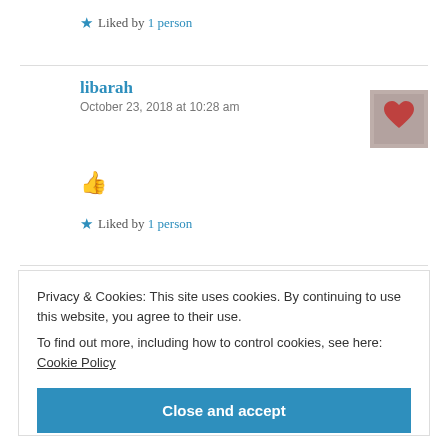★ Liked by 1 person
libarah
October 23, 2018 at 10:28 am
[Figure (photo): Small square avatar photo showing a red heart against a blurred background]
👍
★ Liked by 1 person
Privacy & Cookies: This site uses cookies. By continuing to use this website, you agree to their use.
To find out more, including how to control cookies, see here: Cookie Policy
Close and accept